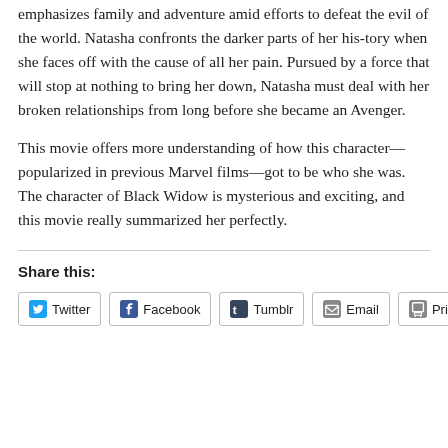emphasizes family and adventure amid efforts to defeat the evil of the world. Natasha confronts the darker parts of her his-tory when she faces off with the cause of all her pain. Pursued by a force that will stop at nothing to bring her down, Natasha must deal with her broken relationships from long before she became an Avenger.
This movie offers more understanding of how this character—popularized in previous Marvel films—got to be who she was. The character of Black Widow is mysterious and exciting, and this movie really summarized her perfectly.
Share this: